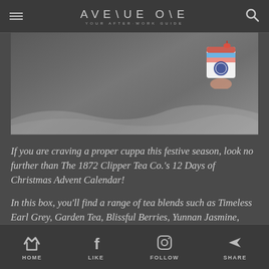AVENUE ONE — YOUR AFTER-WORK GUIDE
[Figure (photo): A hand holding a colorful tea advent calendar box against a light misty background with soft wave shapes]
If you are craving a proper cuppa this festive season, look no further than The 1872 Clipper Tea Co.'s 12 Days of Christmas Advent Calendar!
In this box, you'll find a range of tea blends such as Timeless Earl Grey, Garden Tea, Blissful Berries, Yunnan Jasmine, Peach Tea, and Lemongrass that
HOME   LIKE   FOLLOW   SHARE